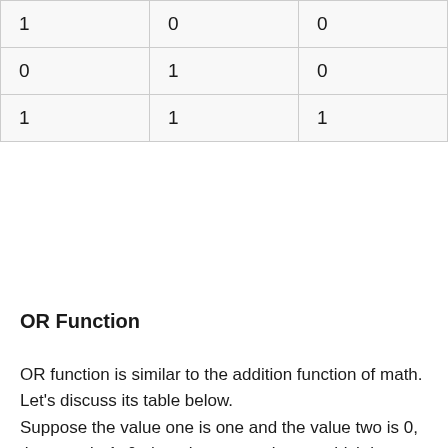| 1 | 0 | 0 |
| 0 | 1 | 0 |
| 1 | 1 | 1 |
OR Function
OR function is similar to the addition function of math. Let's discuss its table below.
Suppose the value one is one and the value two is 0, then we do 1+0, then the answer is one which is equal to 0. But when the first value one is 0, and the second value is also